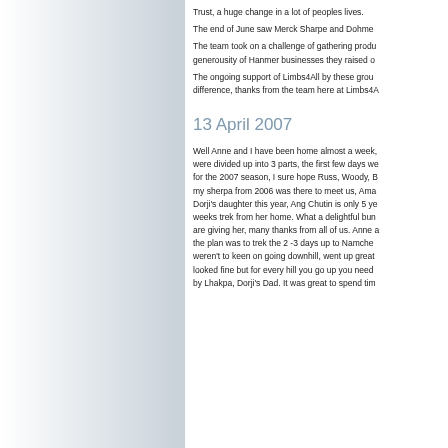Trust, a huge change in a lot of peoples lives.
The end of June saw Merck Sharpe and Dohme
The team took on a challenge of gathering produ generousity of Hanmer businesses they raised o
The ongoing support of Limbs4All by these grou difference, thanks from the team here at Limbs4A
13 April 2007
Well Anne and I have been home almost a week, were divided up into 3 parts, the first few days we for the 2007 season, I sure hope Russ, Woody, B my sherpa from 2006 was there to meet us, Ama Dorji's daughter this year, Ang Chutin is only 5 ye weeks trek from her home. What a delightful bun are giving her, many thanks from all of us. Anne a the plan was to trek the 2 -3 days up to Namche weren't to keen on going downhill, went up great looked fine but for every hill you go up you need by Lhakpa, Dorji's Dad. It was great to spend tim